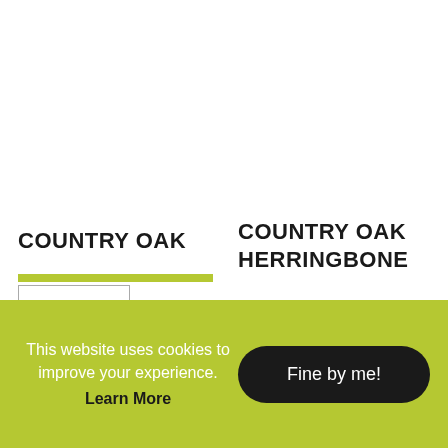COUNTRY OAK
COUNTRY OAK HERRINGBONE
[Figure (illustration): Wishlist/favourite button box with heart outline icon, left product]
[Figure (illustration): Wishlist/favourite button box with heart outline icon, right product]
This website uses cookies to improve your experience. Learn More
Fine by me!